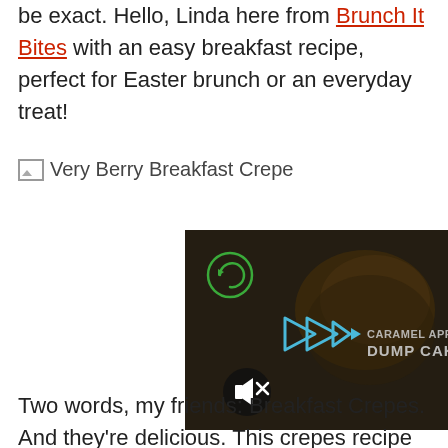be exact. Hello, Linda here from Brunch It Bites with an easy breakfast recipe, perfect for Easter brunch or an everyday treat!
[Figure (other): Broken image placeholder for Very Berry Breakfast Crepe]
[Figure (screenshot): Video thumbnail showing a dark food image with blue play button arrows and text 'CARAMEL APPLE DUMP CAKE', with a mute button icon and a circular refresh/logo icon in top left]
Two words, my friends: Breakfast Crepes. And they're delicious. This crepes recipe is the new favorite for the hubs and I, for breakfast, lunch, and a few more layers after dinner. When you start making these crepes, you will notice that